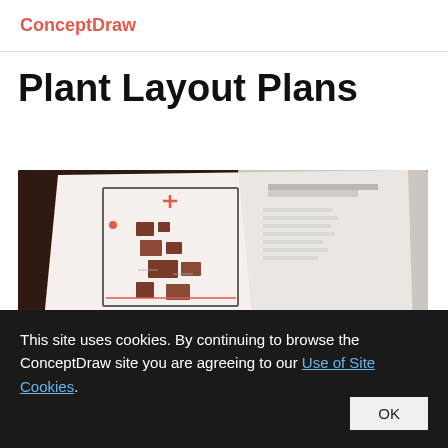ConceptDraw
Plant Layout Plans
[Figure (screenshot): A screenshot/photograph of a plant layout plan diagram on paper showing industrial equipment floor plan with machinery symbols, overlaid with a red label reading 'Plant Layout Plans']
This site uses cookies. By continuing to browse the ConceptDraw site you are agreeing to our Use of Site Cookies.